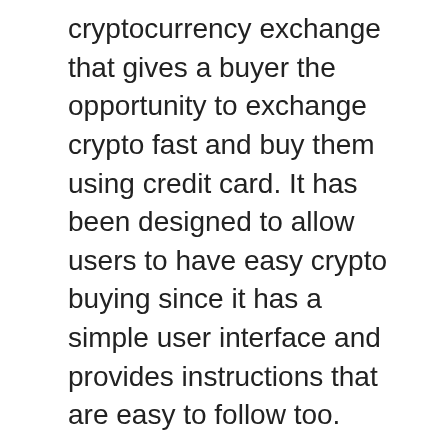cryptocurrency exchange that gives a buyer the opportunity to exchange crypto fast and buy them using credit card. It has been designed to allow users to have easy crypto buying since it has a simple user interface and provides instructions that are easy to follow too.
About xWIN Finance (XWIN)
As an investment platform, xWin allows the user to create a fund of their own where investors can subscribe to any funds they prefer and enjoy the returns based on someone else's trading expertise or wealth management skills. xWin provides Sector Index Vaults, which provides users with exposure to DeFi, or a sector-specific basket